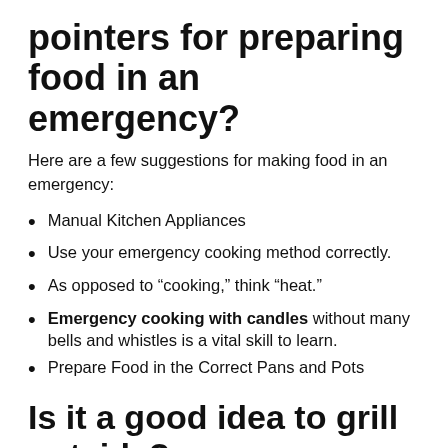pointers for preparing food in an emergency?
Here are a few suggestions for making food in an emergency:
Manual Kitchen Appliances
Use your emergency cooking method correctly.
As opposed to “cooking,” think “heat.”
Emergency cooking with candles without many bells and whistles is a vital skill to learn.
Prepare Food in the Correct Pans and Pots
Is it a good idea to grill outside?